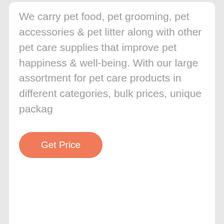We carry pet food, pet grooming, pet accessories & pet litter along with other pet care supplies that improve pet happiness & well-being. With our large assortment for pet care products in different categories, bulk prices, unique packag
[Figure (other): Orange rounded button labeled 'Get Price']
[Figure (photo): Two small round pet food items (treats or buns) partially visible at bottom of white card section]
[Figure (infographic): Orange contact footer bar with three sections: Phone (phone icon), Email (envelope icon), Whatsapp (whatsapp icon), each with underlined white text labels]